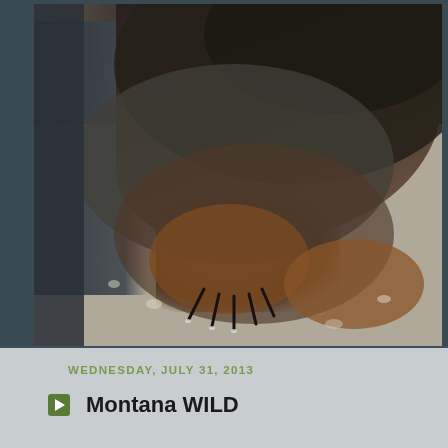[Figure (photo): Close-up wildlife camera trap photo showing the underbelly and clawed paws of an animal (likely a badger or similar mammal) on a gravel/rocky surface. The animal's dark fur body is visible from above, with reddish-brown paws and sharp dark claws pressed against the gravel.]
WEDNESDAY, JULY 31, 2013
Montana WILD